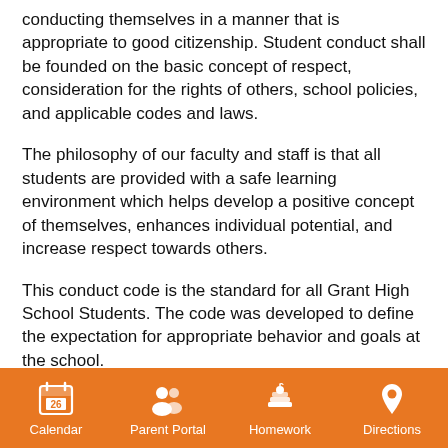conducting themselves in a manner that is appropriate to good citizenship. Student conduct shall be founded on the basic concept of respect, consideration for the rights of others, school policies, and applicable codes and laws.
The philosophy of our faculty and staff is that all students are provided with a safe learning environment which helps develop a positive concept of themselves, enhances individual potential, and increase respect towards others.
This conduct code is the standard for all Grant High School Students.  The code was developed to define the expectation for appropriate behavior and goals at the school.
Calendar  Parent Portal  Homework  Directions